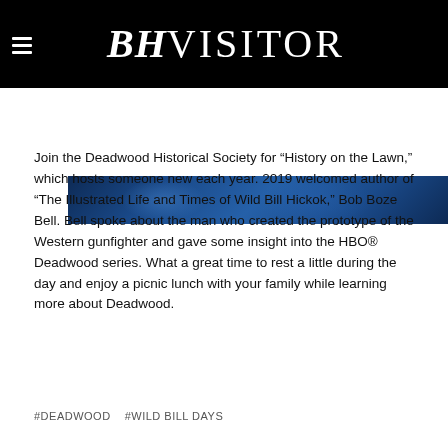BHVISITOR
[Figure (photo): Blue-toned banner image with decorative pattern, partial view of a book or medallion cover]
Join the Deadwood Historical Society for “History on the Lawn,” which hosts someone new each year. 2019 welcomed author of “The Illustrated Life and Times of Wild Bill Hickok,” Bob Boze Bell. Bell spoke about the man who created the prototype of the Western gunfighter and gave some insight into the HBO® Deadwood series. What a great time to rest a little during the day and enjoy a picnic lunch with your family while learning more about Deadwood.
#DEADWOOD   #WILD BILL DAYS